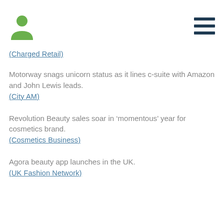[Figure (illustration): Green person/user silhouette icon in top left, and dark blue hamburger menu icon in top right]
(Charged Retail)
Motorway snags unicorn status as it lines c-suite with Amazon and John Lewis leads.
(City AM)
Revolution Beauty sales soar in ‘momentous’ year for cosmetics brand.
(Cosmetics Business)
Agora beauty app launches in the UK.
(UK Fashion Network)